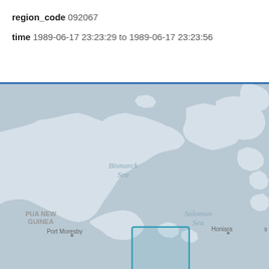region_code 092067
time 1989-06-17 23:23:29 to 1989-06-17 23:23:56
[Figure (map): Geographic map showing Papua New Guinea, Bismarck Sea, Solomon Sea, Port Moresby, Honiara, with a teal rectangle highlighting a region in the Solomon Sea area south of Papua New Guinea.]